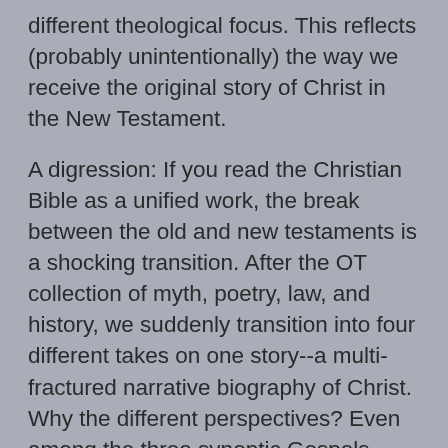different theological focus. This reflects (probably unintentionally) the way we receive the original story of Christ in the New Testament.
A digression: If you read the Christian Bible as a unified work, the break between the old and new testaments is a shocking transition. After the OT collection of myth, poetry, law, and history, we suddenly transition into four different takes on one story--a multi-fractured narrative biography of Christ. Why the different perspectives? Even among the three synoptic Gospels there's a striking difference in style (the critic Harold Bloom once said that with its emphasis on demonic possession and dark forebodings the Gospel of Mark read like something written by Edgar Allan Poe), and that's before you even get to the epic Gospel of John, which takes things in radically different cosmological and Christological directions.